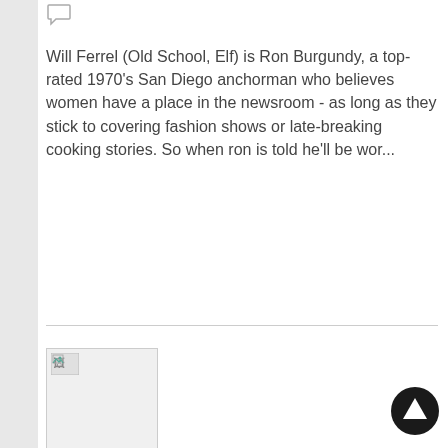[Figure (other): Speech bubble / comment icon at top left]
Will Ferrel (Old School, Elf) is Ron Burgundy, a top-rated 1970's San Diego anchorman who believes women have a place in the newsroom - as long as they stick to covering fashion shows or late-breaking cooking stories. So when ron is told he'll be wor...
[Figure (photo): Movie thumbnail image placeholder for Men in Black: International]
Men in Black: International  6 ★  3,048 ○
The Men in Black have always protected the Earth from the scum of the universe. In this new adventure, they tackle their biggest, most global threat to date: a mole in the Men in Black organization.
[Figure (other): Up arrow navigation button at bottom right]